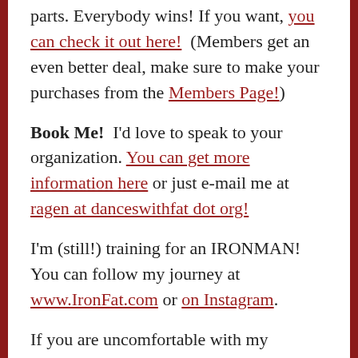parts. Everybody wins! If you want, you can check it out here!  (Members get an even better deal, make sure to make your purchases from the Members Page!)
Book Me!  I'd love to speak to your organization. You can get more information here or just e-mail me at ragen at danceswithfat dot org!
I'm (still!) training for an IRONMAN! You can follow my journey at www.IronFat.com or on Instagram.
If you are uncomfortable with my offering things for sale on this site, you are invited to check out t...